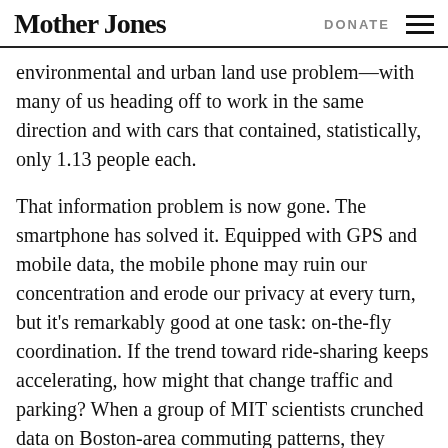Mother Jones  DONATE
environmental and urban land use problem—with many of us heading off to work in the same direction and with cars that contained, statistically, only 1.13 people each.
That information problem is now gone. The smartphone has solved it. Equipped with GPS and mobile data, the mobile phone may ruin our concentration and erode our privacy at every turn, but it's remarkably good at one task: on-the-fly coordination. If the trend toward ride-sharing keeps accelerating, how might that change traffic and parking? When a group of MIT scientists crunched data on Boston-area commuting patterns, they found that if 50 percent of drivers shifted over to